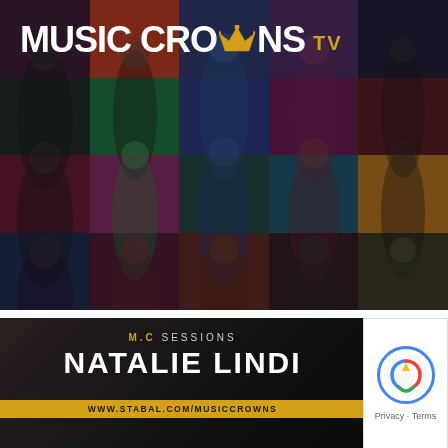[Figure (photo): Music Crowns TV banner with colorful grid of singers and performers in various poses against multi-colored backgrounds. Logo reads MUSIC CROWNS TV with a crown icon.]
MUSIC CROWNS TV
[Figure (photo): M.C SESSIONS - NATALIE LINDI banner at the bottom with URL www.stabal.com/musiccrowns]
M.C SESSIONS NATALIE LINDI www.stabal.com/musiccrowns
[Figure (logo): Google reCAPTCHA badge with Privacy and Terms text]